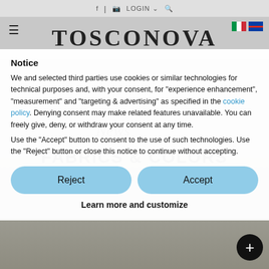f | 📷 LOGIN ▾ 🔍
[Figure (logo): TOSCONOVA brand logo in large serif bold letters]
Notice
We and selected third parties use cookies or similar technologies for technical purposes and, with your consent, for “experience enhancement”, “measurement” and “targeting & advertising” as specified in the cookie policy. Denying consent may make related features unavailable. You can freely give, deny, or withdraw your consent at any time.
Use the “Accept” button to consent to the use of such technologies. Use the “Reject” button or close this notice to continue without accepting.
Reject
Accept
Learn more and customize
[Figure (screenshot): Background showing Tosconova website with News section, FABRICS & COLORS heading, May 4 2022 date, and a living room interior photo]